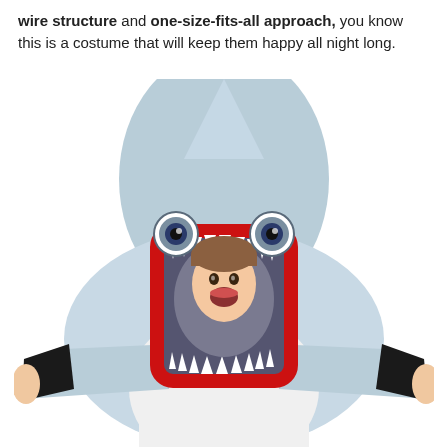wire structure and one-size-fits-all approach, you know this is a costume that will keep them happy all night long.
[Figure (photo): A child wearing a shark costume. The costume is a full-body shark suit in light blue and white, with a large open shark mouth opening trimmed in red where the child's face is visible. The child has their arms outstretched. White background.]